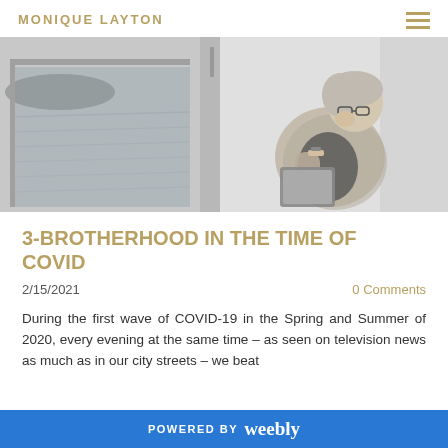MONIQUE LAYTON
[Figure (photo): Black and white photo of an older woman sitting and reading/looking at a tablet or book, with a window showing water/sea in the background, appears to be on a ferry or ship.]
3-BROTHERHOOD IN THE TIME OF COVID
2/15/2021
0 Comments
During the first wave of COVID-19 in the Spring and Summer of 2020, every evening at the same time – as seen on television news as much as in our city streets – we beat
POWERED BY weebly